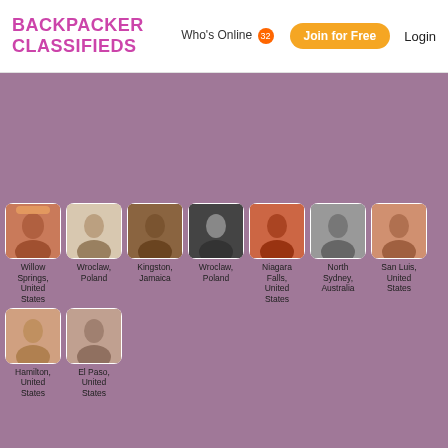BACKPACKER CLASSIFIEDS — Who's Online 32 — Join for Free — Login
[Figure (screenshot): Who's Online profile grid on a purple/mauve background showing 9 user profile photos with location labels]
Willow Springs, United States
Wroclaw, Poland
Kingston, Jamaica
Wroclaw, Poland
Niagara Falls, United States
North Sydney, Australia
San Luis, United States
Hamilton, United States
El Paso, United States